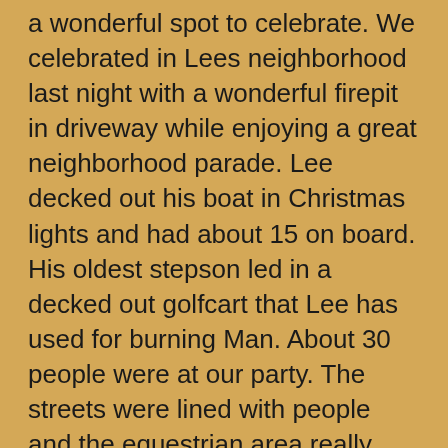a wonderful spot to celebrate. We celebrated in Lees neighborhood last night with a wonderful firepit in driveway while enjoying a great neighborhood parade. Lee decked out his boat in Christmas lights and had about 15 on board. His oldest stepson led in a decked out golfcart that Lee has used for burning Man. About 30 people were at our party. The streets were lined with people and the equestrian area really gets into the spirit. The twins rode in the boat and all the lights and people kept them really entertained. Hope to see u when u get back.
Like
REPLY